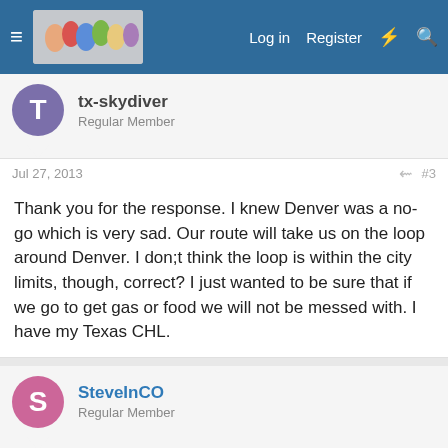Forum navigation header with Log in, Register, and search icons
tx-skydiver
Regular Member
Jul 27, 2013   #3
Thank you for the response. I knew Denver was a no-go which is very sad. Our route will take us on the loop around Denver. I don;t think the loop is within the city limits, though, correct? I just wanted to be sure that if we go to get gas or food we will not be messed with. I have my Texas CHL.
SteveInCO
Regular Member
Jul 27, 2013   #4
tx-skydiver said:
Thank you for the response. I knew Denver was a no-go which is very